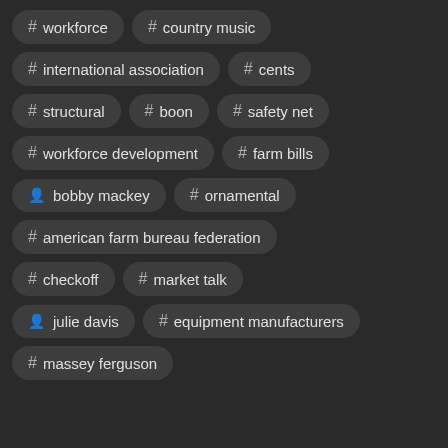# workforce
# country music
# international association
# cents
# structural
# boon
# safety net
# workforce development
# farm bills
person bobby mackey
# ornamental
# american farm bureau federation
# checkoff
# market talk
person julie davis
# equipment manufacturers
# massey ferguson